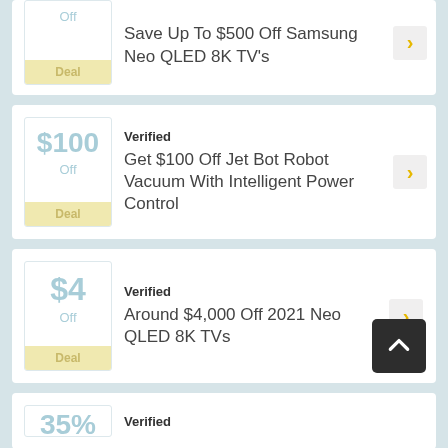Save Up To $500 Off Samsung Neo QLED 8K TV's
Verified
Get $100 Off Jet Bot Robot Vacuum With Intelligent Power Control
Verified
Around $4,000 Off 2021 Neo QLED 8K TVs
Verified